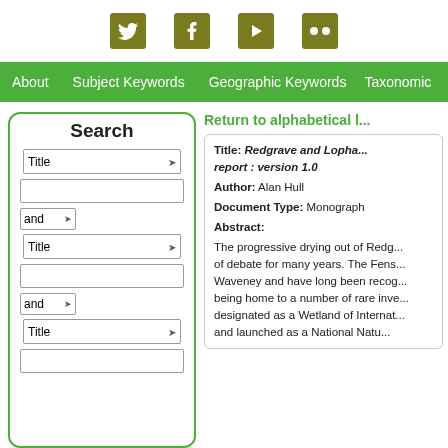[Figure (other): Social media icon bar with Twitter, Facebook, Video/YouTube, Flickr icons on olive/dark yellow background squares]
About  Subject Keywords  Geographic Keywords  Taxonomic
Search
Title [dropdown] and [dropdown] Title [dropdown] and [dropdown] Title [dropdown] [text input]
Return to alphabetical l...
Title: Redgrave and Lopha... report : version 1.0
Author: Alan Hull
Document Type: Monograph
Abstract:
The progressive drying out of Redg... of debate for many years. The Fens... Waveney and have long been recog... being home to a number of rare inve... designated as a Wetland of Internat... and launched as a National Natu...